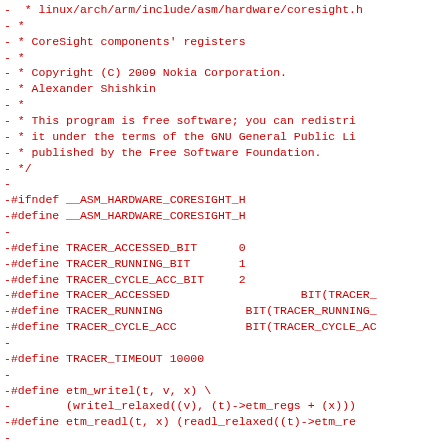- * linux/arch/arm/include/asm/hardware/coresight.h
- *
- * CoreSight components' registers
- *
- * Copyright (C) 2009 Nokia Corporation.
- * Alexander Shishkin
- *
- * This program is free software; you can redistri
- * it under the terms of the GNU General Public Li
- * published by the Free Software Foundation.
- */
-
-#ifndef __ASM_HARDWARE_CORESIGHT_H
-#define __ASM_HARDWARE_CORESIGHT_H
-
-#define TRACER_ACCESSED_BIT      0
-#define TRACER_RUNNING_BIT       1
-#define TRACER_CYCLE_ACC_BIT     2
-#define TRACER_ACCESSED                   BIT(TRACER_
-#define TRACER_RUNNING            BIT(TRACER_RUNNING_
-#define TRACER_CYCLE_ACC          BIT(TRACER_CYCLE_AC
-
-#define TRACER_TIMEOUT 10000
-
-#define etm_writel(t, v, x) \
-        (writel_relaxed((v), (t)->etm_regs + (x)))
-#define etm_readl(t, x) (readl_relaxed((t)->etm_re
-
-/* CoreSight Management Registers */
-#define CSMR_LOCKACCESS 0xfb0
-#define CSMR_LOCKSTATUS 0xfb4